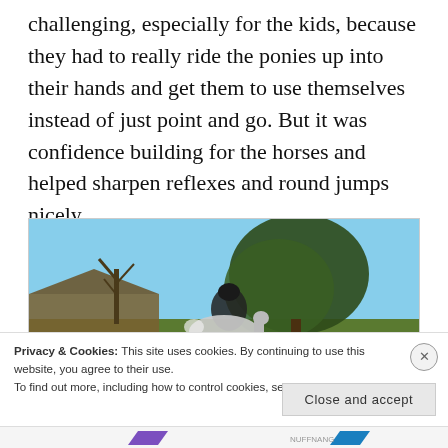challenging, especially for the kids, because they had to really ride the ponies up into their hands and get them to use themselves instead of just point and go. But it was confidence building for the horses and helped sharpen reflexes and round jumps nicely.
[Figure (photo): Outdoor photo showing a rider on a horse/pony with trees in the background and a building visible on the left. Blue sky visible at the top.]
Privacy & Cookies: This site uses cookies. By continuing to use this website, you agree to their use.
To find out more, including how to control cookies, see here: Cookie Policy
NUFFNANG